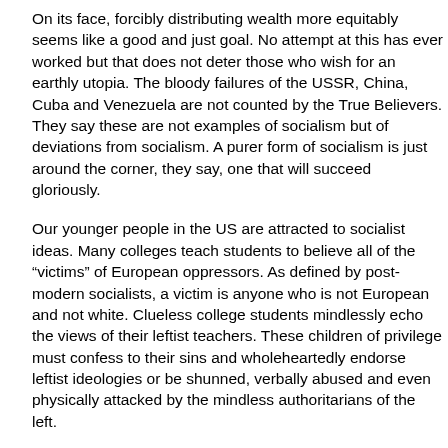On its face, forcibly distributing wealth more equitably seems like a good and just goal. No attempt at this has ever worked but that does not deter those who wish for an earthly utopia. The bloody failures of the USSR, China, Cuba and Venezuela are not counted by the True Believers. They say these are not examples of socialism but of deviations from socialism. A purer form of socialism is just around the corner, they say, one that will succeed gloriously.
Our younger people in the US are attracted to socialist ideas. Many colleges teach students to believe all of the “victims” of European oppressors. As defined by post-modern socialists, a victim is anyone who is not European and not white. Clueless college students mindlessly echo the views of their leftist teachers. These children of privilege must confess to their sins and wholeheartedly endorse leftist ideologies or be shunned, verbally abused and even physically attacked by the mindless authoritarians of the left.
What makes socialism attractive? Young people like simplistic explanations and socialism’s oppressor/victim